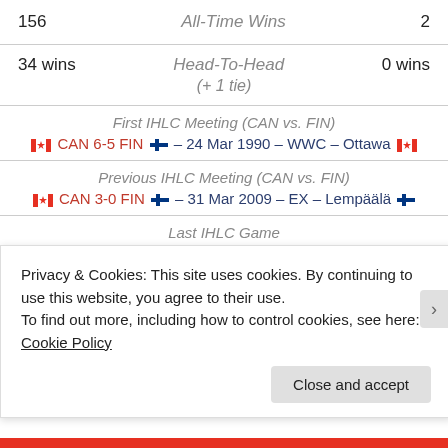156   All-Time Wins   2
34 wins   Head-To-Head   0 wins
(+ 1 tie)
First IHLC Meeting (CAN vs. FIN)
CAN 6-5 FIN – 24 Mar 1990 – WWC – Ottawa
Previous IHLC Meeting (CAN vs. FIN)
CAN 3-0 FIN – 31 Mar 2009 – EX – Lempäälä
Last IHLC Game
CAN 7-0 SWE – 06 Apr 2009 – WWC – Hämeenlinna
Next IHLC Game
Privacy & Cookies: This site uses cookies. By continuing to use this website, you agree to their use.
To find out more, including how to control cookies, see here: Cookie Policy
Close and accept